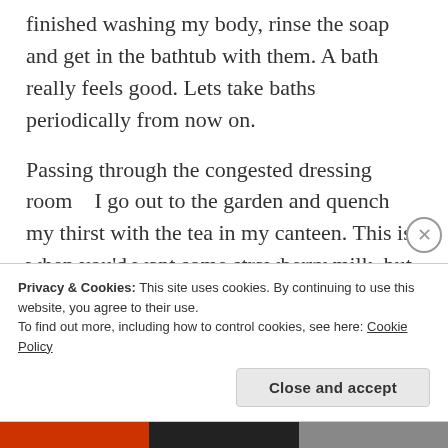finished washing my body, rinse the soap and get in the bathtub with them. A bath really feels good. Lets take baths periodically from now on.
Passing through the congested dressing room   I go out to the garden and quench my thirst with the tea in my canteen. This is when you'd want some strawberry milk, but I guess there isn't such here? Somehow in this parallel world there aren't many sweet things, huh? Seems sugar is expensive, candy is more expensive than a normal meal. Ahh, I want to eat chocolate.
Privacy & Cookies: This site uses cookies. By continuing to use this website, you agree to their use.
To find out more, including how to control cookies, see here: Cookie Policy
Close and accept